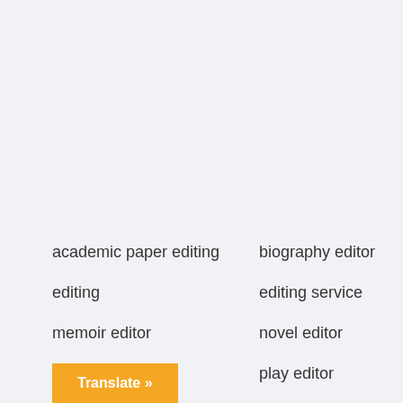academic paper editing
biography editor
editing
editing service
memoir editor
novel editor
lla editor
play editor
poetry editor
professional manuscript
proofread
proofreader
ProofreadingManuscript
proofreadingmanuscript.com
screenplay editor
short story editor
[Figure (infographic): Blue accessibility/wheelchair icon button on left side]
Translate »